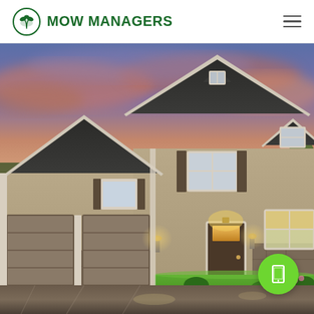MOW MANAGERS
[Figure (photo): Suburban two-story craftsman-style home with dark roof, tan siding, three-car garage, illuminated exterior lights, green lawn, wet driveway reflecting lights, photographed at dusk with pink and purple clouds in the sky. A green circular FAB button with a smartphone/tablet icon is overlaid in the bottom-right corner.]